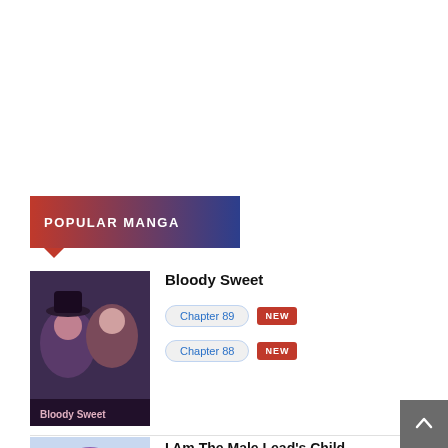POPULAR MANGA
[Figure (illustration): Manga cover for Bloody Sweet showing two anime-style characters in dark purple tones with text 'Bloody Sweet' at bottom]
Bloody Sweet
Chapter 89 NEW
Chapter 88 NEW
[Figure (illustration): Manga cover for I Am The Male Lead's Child showing anime-style character with purple hair]
I Am The Male Lead's Child
Chapter 28 NEW